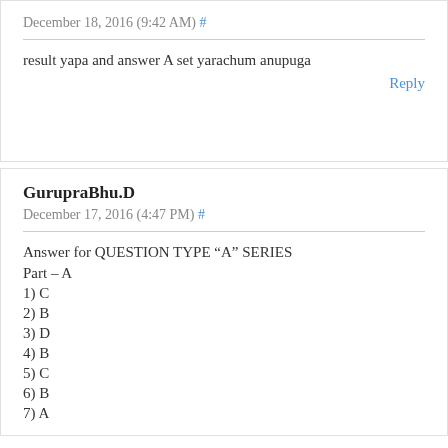December 18, 2016 (9:42 AM) #
result yapa and answer A set yarachum anupuga
Reply
GurupraBhu.D
December 17, 2016 (4:47 PM) #
Answer for QUESTION TYPE “A” SERIES
Part – A
1) C
2) B
3) D
4) B
5) C
6) B
7) A